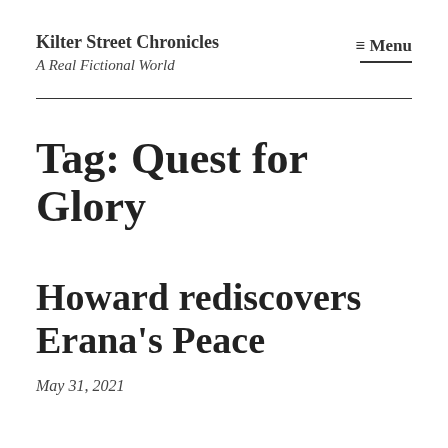Kilter Street Chronicles
A Real Fictional World
≡ Menu
Tag: Quest for Glory
Howard rediscovers Erana's Peace
May 31, 2021